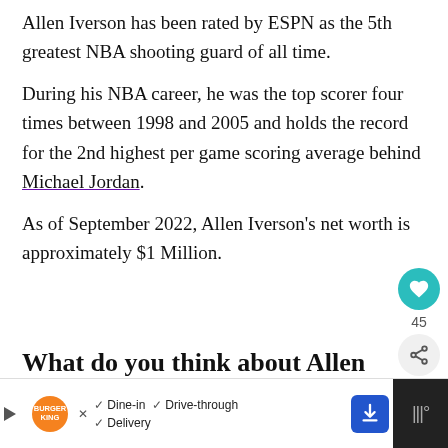Allen Iverson has been rated by ESPN as the 5th greatest NBA shooting guard of all time.
During his NBA career, he was the top scorer four times between 1998 and 2005 and holds the record for the 2nd highest per game scoring average behind Michael Jordan.
As of September 2022, Allen Iverson’s net worth is approximately $1 Million.
What do you think about Allen Iv...